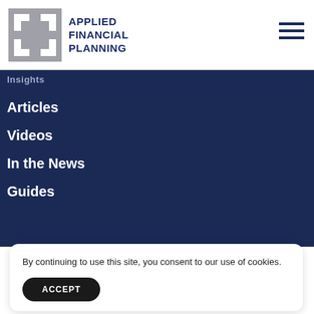[Figure (logo): Applied Financial Planning logo: grey square with stylized double-H pattern in white, company name 'APPLIED FINANCIAL PLANNING' in dark navy bold text to the right]
Applied Financial Planning
Insights
Articles
Videos
In the News
Guides
By continuing to use this site, you consent to our use of cookies.
ACCEPT